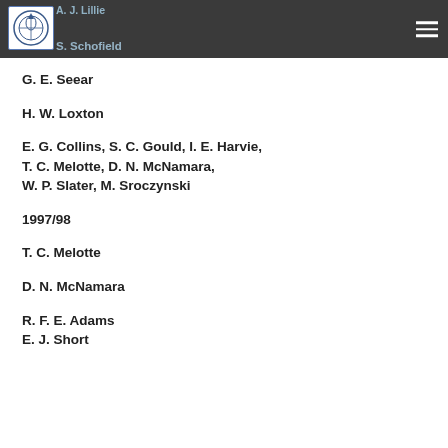A. J. Lillie / S. Schofield
G. E. Seear
H. W. Loxton
E. G. Collins, S. C. Gould, I. E. Harvie, T. C. Melotte, D. N. McNamara, W. P. Slater, M. Sroczynski
1997/98
T. C. Melotte
D. N. McNamara
R. F. E. Adams
E. J. Short